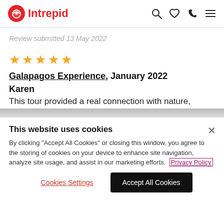Intrepid
Review submitted 13 May 2022
★★★★★
Galapagos Experience, January 2022
Karen
This tour provided a real connection with nature,
This website uses cookies
By clicking "Accept All Cookies" or closing this window, you agree to the storing of cookies on your device to enhance site navigation, analyze site usage, and assist in our marketing efforts. Privacy Policy
Cookies Settings
Accept All Cookies